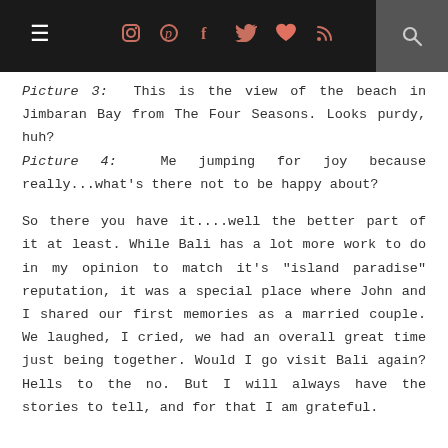≡  [icons: instagram, pinterest, facebook, twitter, heart, rss]  [search]
Picture 3: This is the view of the beach in Jimbaran Bay from The Four Seasons. Looks purdy, huh?
Picture 4: Me jumping for joy because really...what's there not to be happy about?
So there you have it....well the better part of it at least. While Bali has a lot more work to do in my opinion to match it's "island paradise" reputation, it was a special place where John and I shared our first memories as a married couple. We laughed, I cried, we had an overall great time just being together. Would I go visit Bali again? Hells to the no. But I will always have the stories to tell, and for that I am grateful.